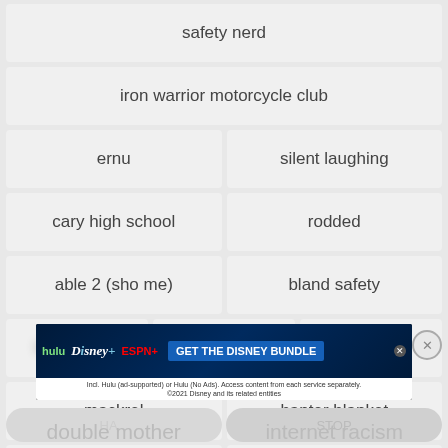safety nerd
iron warrior motorcycle club
ernu
silent laughing
cary high school
rodded
able 2 (sho me)
bland safety
[blurred]
vitamin p
guinea pig
mackrel
banter blanket
circle your house
shrimp trick
monthiversary
[Figure (screenshot): Hulu Disney+ ESPN+ GET THE DISNEY BUNDLE advertisement banner. Incl. Hulu (ad-supported) or Hulu (No Ads). Access content from each service separately. ©2021 Disney and its related entities]
double mother
internet racism